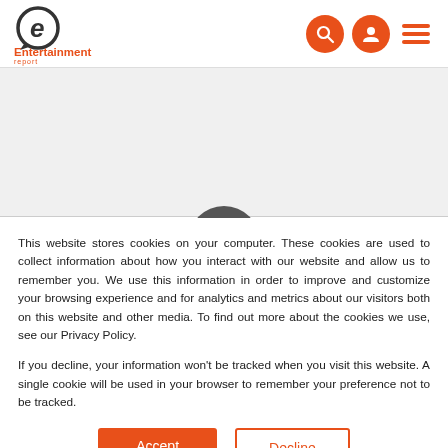[Figure (logo): Entertainment Report logo with stylized 'e' in a speech bubble circle and orange text]
This website stores cookies on your computer. These cookies are used to collect information about how you interact with our website and allow us to remember you. We use this information in order to improve and customize your browsing experience and for analytics and metrics about our visitors both on this website and other media. To find out more about the cookies we use, see our Privacy Policy.
If you decline, your information won't be tracked when you visit this website. A single cookie will be used in your browser to remember your preference not to be tracked.
Accept   Decline